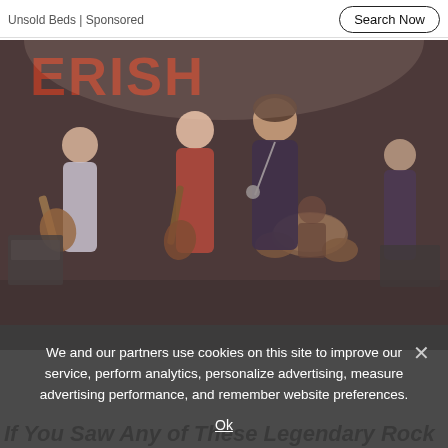Unsold Beds | Sponsored   Search Now
[Figure (photo): Rock band performing on stage, multiple musicians with guitars and a lead singer, colorful stage backdrop with partial red neon lettering visible]
If You Saw Any of These Legendary Rock
We and our partners use cookies on this site to improve our service, perform analytics, personalize advertising, measure advertising performance, and remember website preferences.
Ok